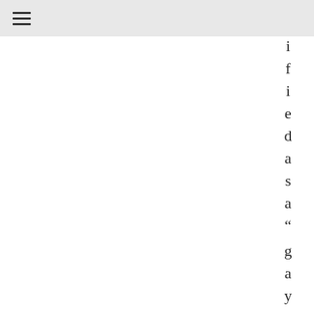≡
i f i e d a s a “ g a y m a r t y r ”